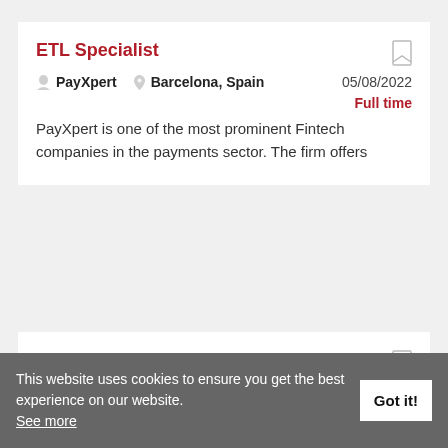ETL Specialist
PayXpert   Barcelona, Spain   05/08/2022
Full time
PayXpert is one of the most prominent Fintech companies in the payments sector. The firm offers
Sales Operations Specialist
Thunes   Barcelona, Spain   03/08/2022
This website uses cookies to ensure you get the best experience on our website. See more
Got it!